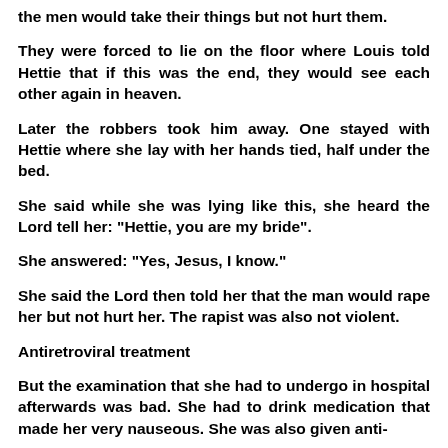the men would take their things but not hurt them.
They were forced to lie on the floor where Louis told Hettie that if this was the end, they would see each other again in heaven.
Later the robbers took him away. One stayed with Hettie where she lay with her hands tied, half under the bed.
She said while she was lying like this, she heard the Lord tell her: "Hettie, you are my bride".
She answered: "Yes, Jesus, I know."
She said the Lord then told her that the man would rape her but not hurt her. The rapist was also not violent.
Antiretroviral treatment
But the examination that she had to undergo in hospital afterwards was bad. She had to drink medication that made her very nauseous. She was also given anti-